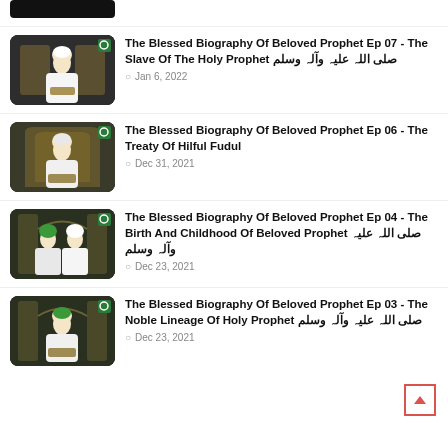[Figure (screenshot): Partially visible thumbnail of Islamic lecture video at top]
The Blessed Biography Of Beloved Prophet Ep 07 - The Slave Of The Holy Prophet صلى الله عليه وآله وسلم — Jan 6, 2022
The Blessed Biography Of Beloved Prophet Ep 06 - The Treaty Of Hilful Fudul — Dec 31, 2021
The Blessed Biography Of Beloved Prophet Ep 04 - The Birth And Childhood Of Beloved Prophet صلى الله عليه وآله وسلم — Dec 23, 2021
The Blessed Biography Of Beloved Prophet Ep 03 - The Noble Lineage Of Holy Prophet صلى الله عليه وآله وسلم — Dec 23, 2021